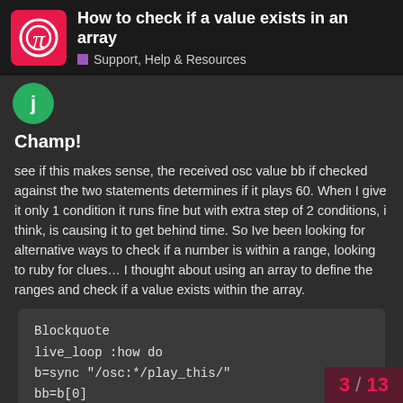How to check if a value exists in an array — Support, Help & Resources
Champ!
see if this makes sense, the received osc value bb if checked against the two statements determines if it plays 60. When I give it only 1 condition it runs fine but with extra step of 2 conditions, i think, is causing it to get behind time. So Ive been looking for alternative ways to check if a number is within a range, looking to ruby for clues… I thought about using an array to define the ranges and check if a value exists within the array.
Blockquote
live_loop :how do
b=sync "/osc:*/play_this/"
bb=b[0]
if bb > 40 and bb <60
play 60
end
sleep 0.05
3 / 13